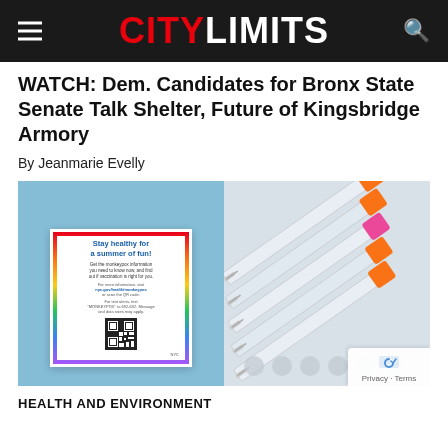CITY LIMITS
WATCH: Dem. Candidates for Bronx State Senate Talk Shelter, Future of Kingsbridge Armory
By Jeanmarie Evelly
[Figure (photo): Two photos side by side: left shows a person holding an NYC monkeypox public health flyer reading 'Stay healthy for a summer of fun!'; right shows multiple syringes with orange and pink caps arranged in a rack.]
HEALTH AND ENVIRONMENT